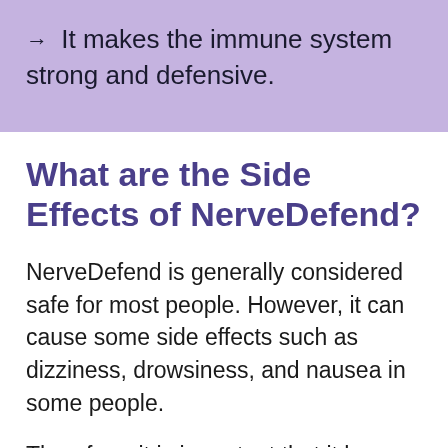→ It makes the immune system strong and defensive.
What are the Side Effects of NerveDefend?
NerveDefend is generally considered safe for most people. However, it can cause some side effects such as dizziness, drowsiness, and nausea in some people.
Therefore, it is important that it has been